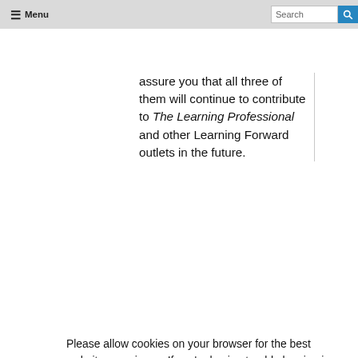Menu | Search
assure you that all three of them will continue to contribute to The Learning Professional and other Learning Forward outlets in the future.
Please allow cookies on your browser for the best website experience. If you're having trouble logging in or using the site, please try refreshing the webpage after you have logged in. For more advanced trouble shooting, learn how to clear your cache here.
Got it!
commitment, even in the most